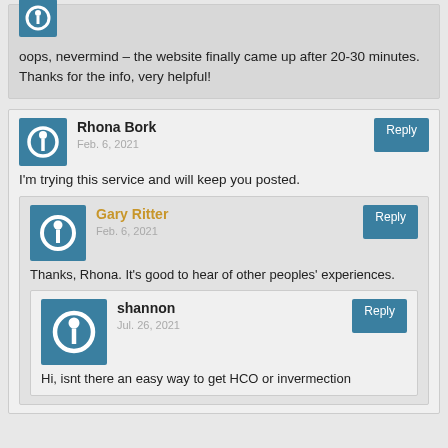oops, nevermind – the website finally came up after 20-30 minutes. Thanks for the info, very helpful!
Rhona Bork
Feb. 6, 2021
I'm trying this service and will keep you posted.
Gary Ritter
Feb. 6, 2021
Thanks, Rhona. It's good to hear of other peoples' experiences.
shannon
Jul. 26, 2021
Hi, isnt there an easy way to get HCO or invermection